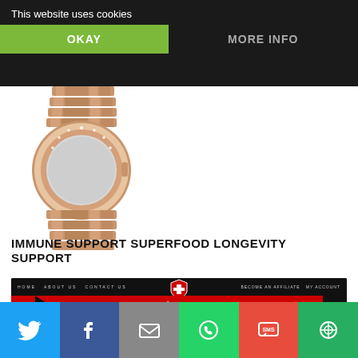This website uses cookies
OKAY
MORE INFO
[Figure (photo): Rose gold luxury wristwatch with diamond bezel, showing partial watch face and bracelet]
IMMUNE SUPPORT SUPERFOOD LONGEVITY SUPPORT
[Figure (screenshot): Website screenshot showing red and black hero section with IMMUNE SUPPORT SUPERFOOD LONGEVITY SUPPORT text, Swiss cross shield logo, and navigation bar]
Social sharing icons: Twitter, Facebook, Email, WhatsApp, SMS, Other